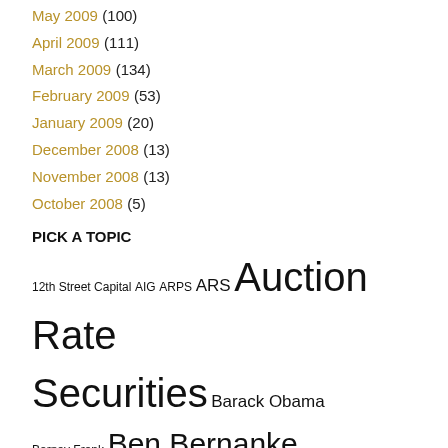May 2009 (100)
April 2009 (111)
March 2009 (134)
February 2009 (53)
January 2009 (20)
December 2008 (13)
November 2008 (13)
October 2008 (5)
PICK A TOPIC
12th Street Capital AIG ARPS ARS Auction Rate Securities Barack Obama Barney Frank Ben Bernanke Bernie Madoff crony capitalism Economy Fannie Mae FDIC Federal Reserve financial regulation financial regulatory reform